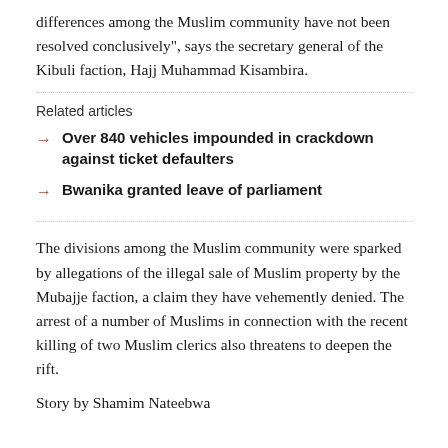differences among the Muslim community have not been resolved conclusively", says the secretary general of the Kibuli faction, Hajj Muhammad Kisambira.
Related articles
Over 840 vehicles impounded in crackdown against ticket defaulters
Bwanika granted leave of parliament
The divisions among the Muslim community were sparked by allegations of the illegal sale of Muslim property by the Mubajje faction, a claim they have vehemently denied. The arrest of a number of Muslims in connection with the recent killing of two Muslim clerics also threatens to deepen the rift.
Story by Shamim Nateebwa